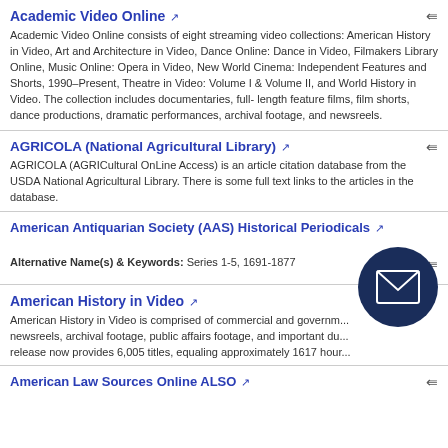Academic Video Online
Academic Video Online consists of eight streaming video collections: American History in Video, Art and Architecture in Video, Dance Online: Dance in Video, Filmakers Library Online, Music Online: Opera in Video, New World Cinema: Independent Features and Shorts, 1990–Present, Theatre in Video: Volume I & Volume II, and World History in Video. The collection includes documentaries, full-length feature films, film shorts, dance productions, dramatic performances, archival footage, and newsreels.
AGRICOLA (National Agricultural Library)
AGRICOLA (AGRICultural OnLine Access) is an article citation database from the USDA National Agricultural Library. There is some full text links to the articles in the database.
American Antiquarian Society (AAS) Historical Periodicals
Alternative Name(s) & Keywords: Series 1-5, 1691-1877
American History in Video
American History in Video is comprised of commercial and government newsreels, archival footage, public affairs footage, and important du... release now provides 6,005 titles, equaling approximately 1617 hour...
American Law Sources Online ALSO